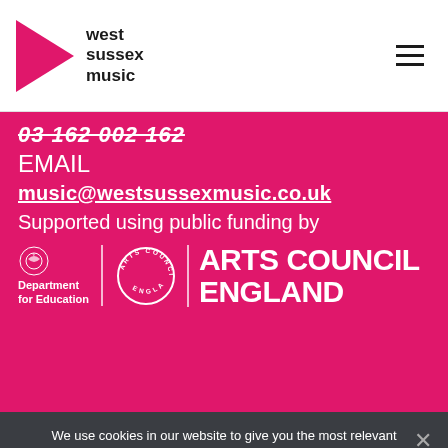[Figure (logo): West Sussex Music logo with pink triangle and text]
03 162 002 162
EMAIL
music@westsussexmusic.co.uk
Supported using public funding by
[Figure (logo): Department for Education, Arts Council England logos]
We use cookies in our website to give you the most relevant experience by remembering your preferences and repeat visits. We also use cookies to provide information on how the website is used and to use these cookies, we need your consent. By clicking "Accept", you consent to the use of all of our analytics cookies.
Accept
Privacy policy